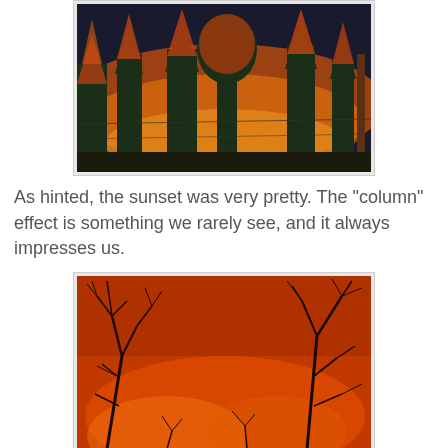[Figure (photo): Top portion of a sunset photo showing orange-lit treetops (pine/deciduous trees) against a dark sky with a warm glow, partially cropped at the top of the page.]
As hinted, the sunset was very pretty. The "column" effect is something we rarely see, and it always impresses us.
[Figure (photo): A deep orange-red sky photo with dark bare tree branches silhouetted against the vivid orange atmospheric glow, suggesting a smoky or hazy sunset sky.]